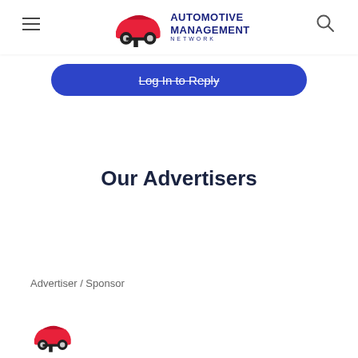Automotive Management Network
Log In to Reply
Our Advertisers
Advertiser / Sponsor
[Figure (logo): Automotive Management Network logo - red car icon with blue text]